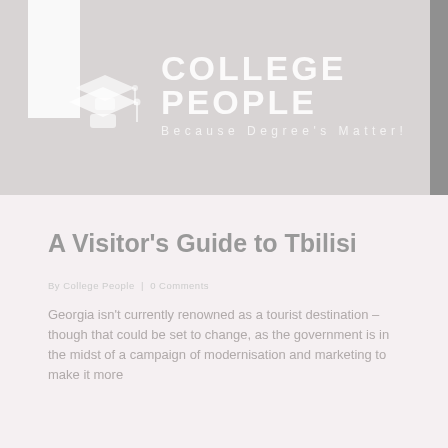[Figure (logo): College People logo with graduation caps and text 'COLLEGE PEOPLE — Because Degree's Matter!' on grey banner background]
A Visitor's Guide to Tbilisi
Georgia isn't currently renowned as a tourist destination – though that could be set to change, as the government is in the midst of a campaign of modernisation and marketing to make it more
article meta/byline
College People header banner